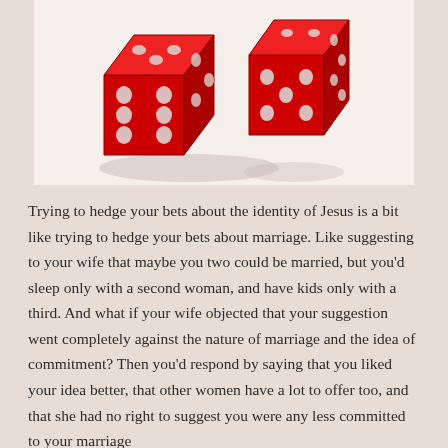[Figure (photo): Two red translucent dice tumbling in the air with shadows beneath them on a white/light background]
Trying to hedge your bets about the identity of Jesus is a bit like trying to hedge your bets about marriage. Like suggesting to your wife that maybe you two could be married, but you'd sleep only with a second woman, and have kids only with a third. And what if your wife objected that your suggestion went completely against the nature of marriage and the idea of commitment? Then you'd respond by saying that you liked your idea better, that other women have a lot to offer too, and that she had no right to suggest you were any less committed to your marriage